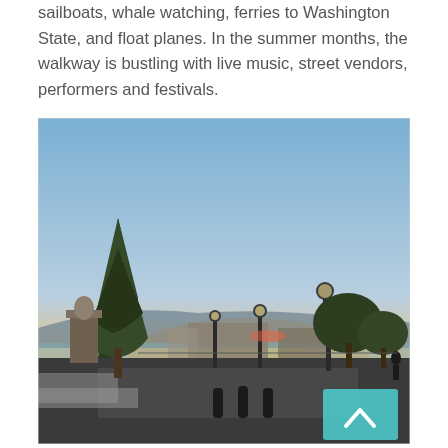sailboats, whale watching, ferries to Washington State, and float planes. In the summer months, the walkway is bustling with live music, street vendors, performers and festivals.
[Figure (photo): Outdoor sunset photo of a waterfront plaza area with street lamps, trees including a tall conifer on the left, buildings in the background, and a warm golden-orange sunset sky. A small teal/cyan scroll-to-top button is visible in the lower right corner.]